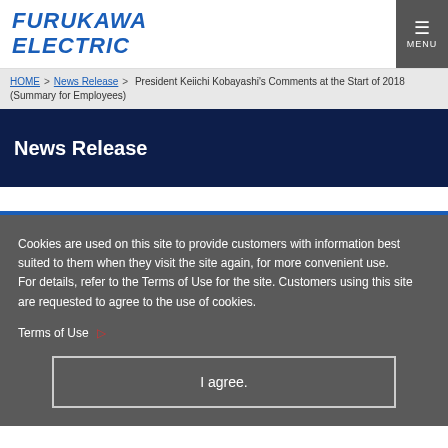FURUKAWA ELECTRIC
HOME > News Release > President Keiichi Kobayashi's Comments at the Start of 2018 (Summary for Employees)
News Release
Cookies are used on this site to provide customers with information best suited to them when they visit the site again, for more convenient use.
For details, refer to the Terms of Use for the site. Customers using this site are requested to agree to the use of cookies.
Terms of Use
I agree.